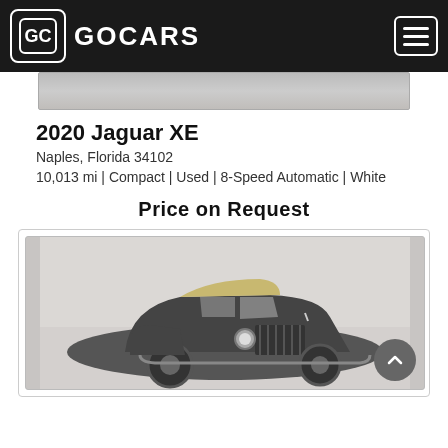GOCARS
[Figure (photo): Partial bottom of a car photo, cropped]
2020 Jaguar XE
Naples, Florida 34102
10,013 mi | Compact | Used | 8-Speed Automatic | White
Price on Request
[Figure (photo): Vintage dark gray classic car with convertible top, front three-quarter view on a light background. A scroll-to-top button overlay is visible at bottom right.]